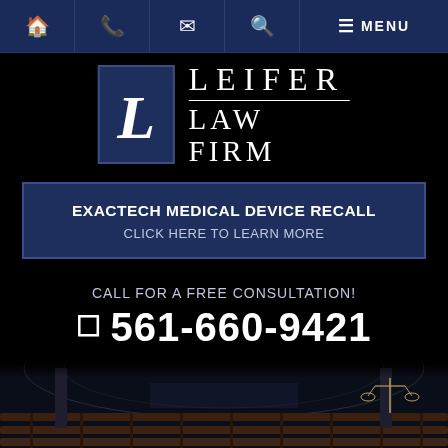Navigation bar with home, phone, email, search, menu icons
[Figure (logo): Leifer Law Firm logo with L lettermark in navy box and serif text]
EXACTECH MEDICAL DEVICE RECALL
CLICK HERE TO LEARN MORE
CALL FOR A FREE CONSULTATION!
561-660-9421
En Español →
[Figure (photo): Courtroom interior with wooden benches and scales of justice]